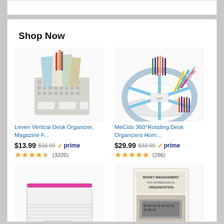Shop Now
[Figure (photo): Leven Vertical Desk Organizer product photo - a grey mesh/plastic vertical file organizer holding notebooks and folders]
Leven Vertical Desk Organizer, Magazine F...
$13.99  $16.99  ✓prime
★★★★½ (3326)
[Figure (photo): MeCids 360° Rotating Desk Organizers product photo - a white and blue round rotating desk organizer holding colored pencils, markers, scissors and other supplies]
MeCids 360°Rotating Desk Organizers Hom...
$29.99  $32.99  ✓prime
★★★★★ (296)
[Figure (photo): Colorful zipper pouches/folders with label tab at bottom]
[Figure (photo): Money Management in a Homeschool Organization - A Guide for Treasurers book cover]